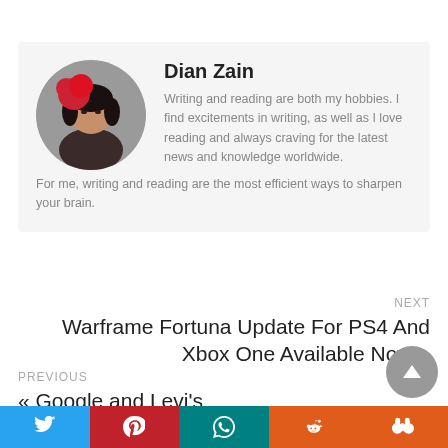[Figure (photo): Author profile photo of Dian Zain – circular avatar showing a woman with dark hair and red accessories]
Dian Zain
Writing and reading are both my hobbies. I find excitements in writing, as well as I love reading and always craving for the latest news and knowledge worldwide. For me, writing and reading are the most efficient ways to sharpen your brain.
NEXT
Warframe Fortuna Update For PS4 And Xbox One Available Now »
PREVIOUS
« Google and Levi's Commuter Jacquard Smart Jacket Alerts You If You Forget Your Phone